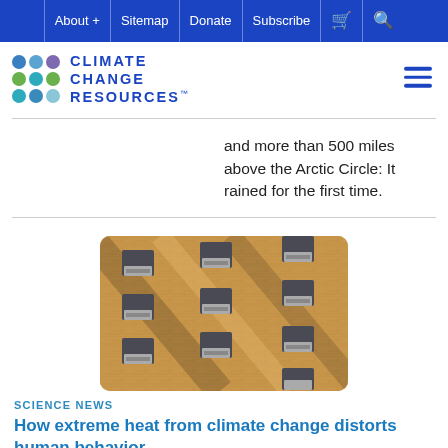About + | Sitemap | Donate | Subscribe | [cart] | [search]
[Figure (logo): Climate Change Resources logo with colorful dot grid and blue text reading CLIMATE CHANGE RESOURCES]
and more than 500 miles above the Arctic Circle: It rained for the first time.
[Figure (photo): Photograph of a brick apartment building facade with multiple air conditioning units installed in windows, taken from an angled perspective.]
SCIENCE NEWS
How extreme heat from climate change distorts human behavior
By Sujata Gupta  Photo: Bruce Yuanyue Bi
08/18/21
On a sweltering summer afternoon almost